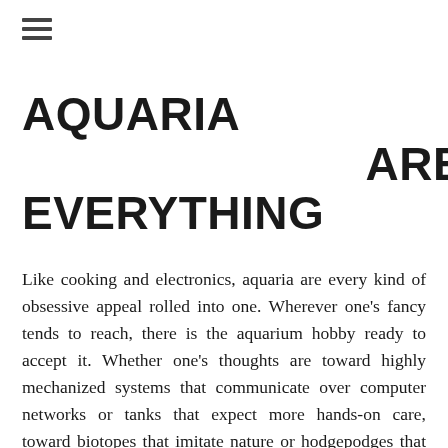≡
AQUARIA ARE EVERYTHING
Like cooking and electronics, aquaria are every kind of obsessive appeal rolled into one. Wherever one's fancy tends to reach, there is the aquarium hobby ready to accept it. Whether one's thoughts are toward highly mechanized systems that communicate over computer networks or tanks that expect more hands-on care, toward biotopes that imitate nature or hodgepodges that merely accept it, toward psychedelic fluorescence or earthy peace, the aquarium hobby has a fish tank to match. The beauty of this hobby is in the sheer abundant possibilities it encompasses, and every aquarist's regret is